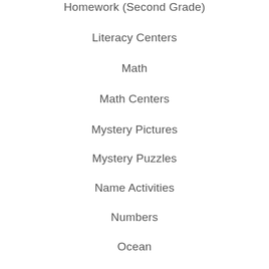Homework (Second Grade)
Literacy Centers
Math
Math Centers
Mystery Pictures
Mystery Puzzles
Name Activities
Numbers
Ocean
Phonics